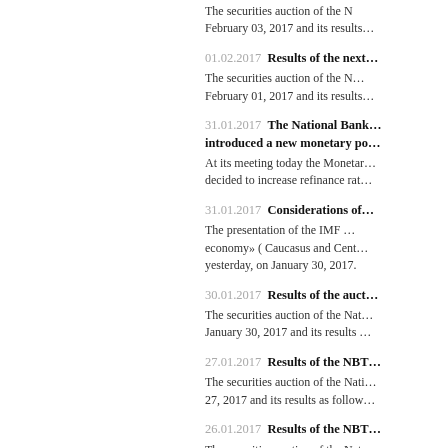The securities auction of the N… February 03, 2017 and its results…
01.02.2017  Results of the next…
The securities auction of the N… February 01, 2017 and its results…
31.01.2017  The National Bank… introduced a new monetary po…
At its meeting today the Monetar… decided to increase refinance rat…
31.01.2017  Considerations of…
The presentation of the IMF … economy» ( Caucasus and Cent… yesterday, on January 30, 2017.
30.01.2017  Results of the auct…
The securities auction of the Nat… January 30, 2017 and its results …
27.01.2017  Results of the NBT…
The securities auction of the Nati… 27, 2017 and its results as follow…
26.01.2017  Results of the NBT…
The securities auction of the Nat… January 27, 2017 and its results…